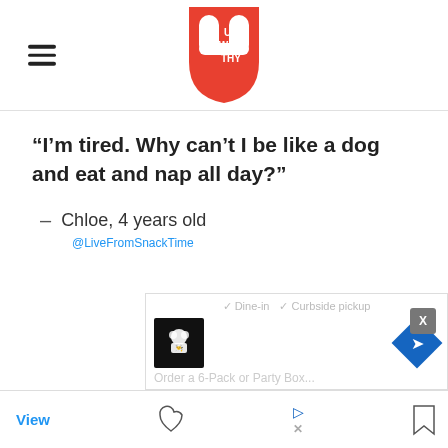Upworthy logo with hamburger menu
“I’m tired. Why can’t I be like a dog and eat and nap all day?”
– Chloe, 4 years old
@LiveFromSnackTime
[Figure (screenshot): Ad overlay showing dine-in and curbside pickup options with restaurant logo and navigation icon, plus partial order text]
View | heart icon | play/close icons | bookmark icon